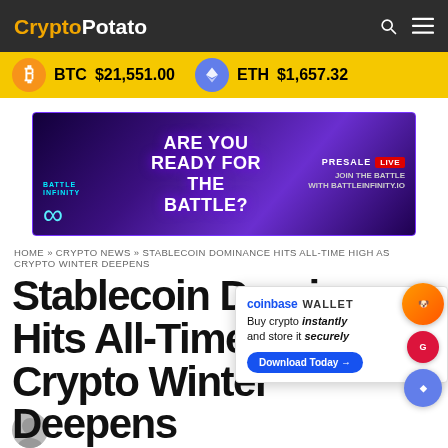CryptoPotato
BTC $21,551.00   ETH $1,657.32
[Figure (infographic): Battle Infinity presale advertisement banner — purple background, 'ARE YOU READY FOR THE BATTLE?' text, presale LIVE badge, battleinfinity.io URL]
HOME » CRYPTO NEWS » STABLECOIN DOMINANCE HITS ALL-TIME HIGH AS CRYPTO WINTER DEEPENS
Stablecoin Dominance Hits All-Time High as Crypto Winter Deepens
[Figure (infographic): Coinbase Wallet advertisement popup — 'Buy crypto instantly and store it securely', Download Today button]